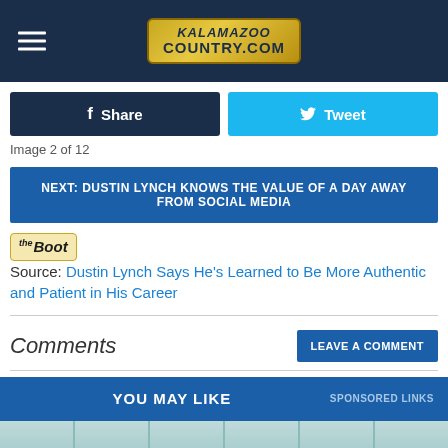KALAMAZOO COUNTRY.COM
Share  Tweet
Image 2 of 12
NEXT: DUSTIN LYNCH KNOWS THE VALUE OF A DAY AWAY FROM SOCIAL MEDIA
Source: Dustin Lynch Says He's Learned to Be More Authentic and Patient in His Career
Comments
LEAVE A COMMENT
YOU MAY LIKE   SPONSORED LINKS
[Figure (photo): Light blue painted wooden planks/fence panels at the bottom of the page]